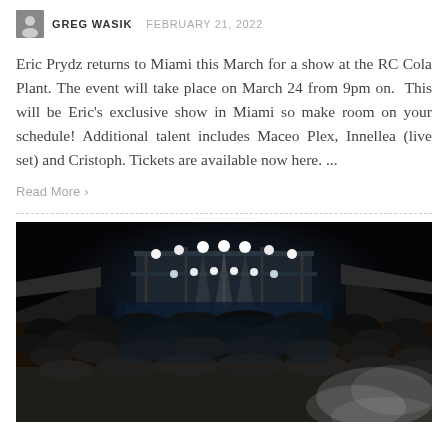GREG WASIK  FEBRUARY 21, 2022
Eric Prydz returns to Miami this March for a show at the RC Cola Plant. The event will take place on March 24 from 9pm on.  This will be Eric's exclusive show in Miami so make room on your schedule! Additional talent includes Maceo Plex, Innellea (live set) and Cristoph. Tickets are available now here. ...
Read More >
[Figure (photo): Outdoor nighttime concert with large stage lit by bright white and blue lights, large crowd of attendees in the foreground, smoke visible in the lower right, covered viewing areas on left and right sides.]